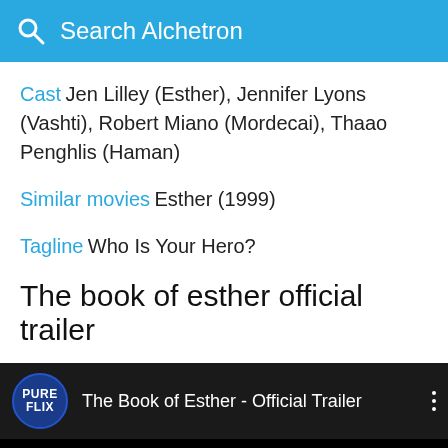Search Alchetron
Cast  Jen Lilley (Esther), Jennifer Lyons (Vashti), Robert Miano (Mordecai), Thaao Penghlis (Haman)
Similar movies  Esther (1999)
Tagline  Who Is Your Hero?
The book of esther official trailer
[Figure (screenshot): Video player bar showing Pure Flix logo and title 'The Book of Esther - Official Trailer' with three-dot menu, over dark background with Covid-19 badge in bottom-right corner]